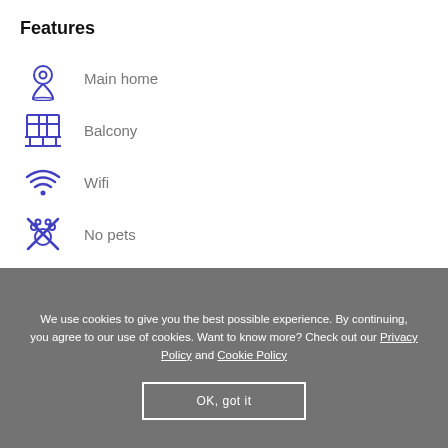Features
Main home
Balcony
Wifi
No pets
Dream destinations
We use cookies to give you the best possible experience. By continuing, you agree to our use of cookies. Want to know more? Check out our Privacy Policy and Cookie Policy
OK, got it